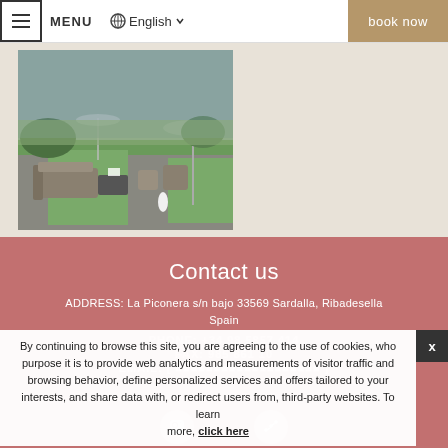≡ MENU  🌐 English ∨  book now
[Figure (photo): Outdoor terrace with rattan furniture, green lawn, umbrellas, and countryside views]
Contact us
ADDRESS: La Piconera s/n bajo 33569 Sardalla, Ribadesella Spain
PHONE: +34 98 5857 414
FAX: 985 861 10
EMAIL: [ email address shown ]
By continuing to browse this site, you are agreeing to the use of cookies, whose purpose it is to provide web analytics and measurements of visitor traffic and browsing behavior, define personalized services and offers tailored to your interests, and share data with, or redirect users from, third-party websites. To learn more, click here